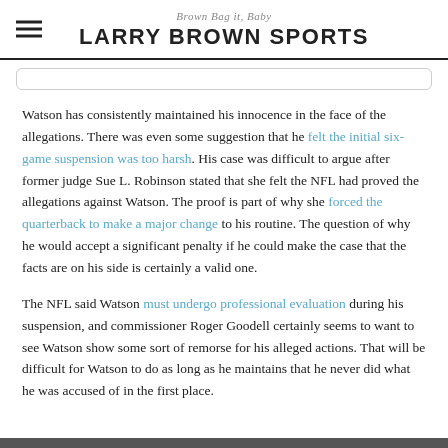Brown Bag it, Baby
LARRY BROWN SPORTS
Watson has consistently maintained his innocence in the face of the allegations. There was even some suggestion that he felt the initial six-game suspension was too harsh. His case was difficult to argue after former judge Sue L. Robinson stated that she felt the NFL had proved the allegations against Watson. The proof is part of why she forced the quarterback to make a major change to his routine. The question of why he would accept a significant penalty if he could make the case that the facts are on his side is certainly a valid one.
The NFL said Watson must undergo professional evaluation during his suspension, and commissioner Roger Goodell certainly seems to want to see Watson show some sort of remorse for his alleged actions. That will be difficult for Watson to do as long as he maintains that he never did what he was accused of in the first place.